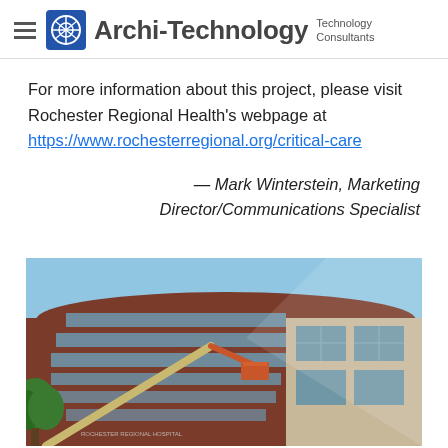Archi-Technology — Technology Consultants
For more information about this project, please visit Rochester Regional Health's webpage at https://www.rochesterregional.org/critical-care
— Mark Winterstein, Marketing Director/Communications Specialist
[Figure (photo): Exterior photo of a curved hospital building with brick and glass facade, with a boom lift crane in the foreground against a blue sky.]